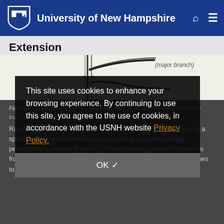University of New Hampshire
Extension
[Figure (illustration): Partial diagram of scaffold branches / tree pruning illustration, partially cropped, with annotation text partially visible reading '(major branch)']
Figure 1. Scaffold branches spaced greater than 12 inches apart on the trunk so the leader and scaffold branches do not compete.
Radial spacing places scaffold branches spiraling from the trunk in a spiral pattern so that the form is balanced and maximum light penetration is allowed (Figure 2). Radial spacing prevents branches from growing directly above one another, which would force branches to compete for light and nutrients.
This site uses cookies to enhance your browsing experience. By continuing to use this site, you agree to the use of cookies, in accordance with the USNH website Privacy Policy.
OK ✓